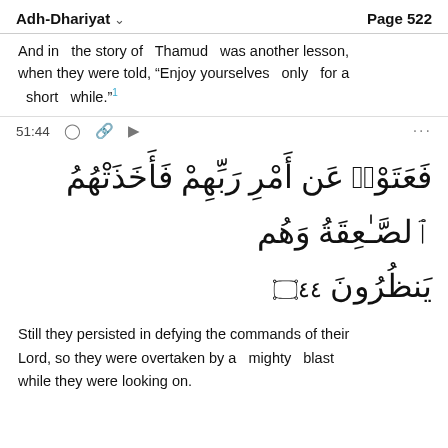Adh-Dhariyat   Page 522
And in the story of Thamud was another lesson, when they were told, “Enjoy yourselves only for a short while.”¹
51:44
[Figure (other): Arabic Quranic verse 51:44 in large Arabic script with verse number marker 44]
Still they persisted in defying the commands of their Lord, so they were overtaken by a mighty blast while they were looking on.